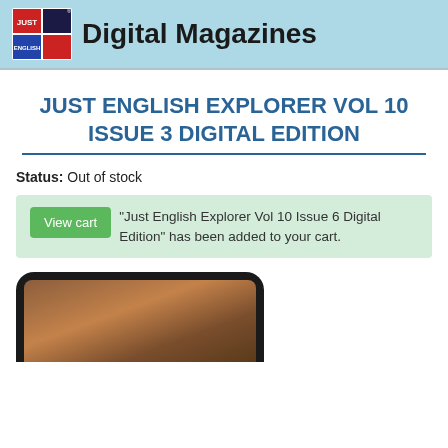Digital Magazines
JUST ENGLISH EXPLORER VOL 10 ISSUE 3 DIGITAL EDITION
Status: Out of stock
“Just English Explorer Vol 10 Issue 6 Digital Edition” has been added to your cart.
[Figure (photo): Tablet device showing magazine cover, partially cropped at bottom of page]